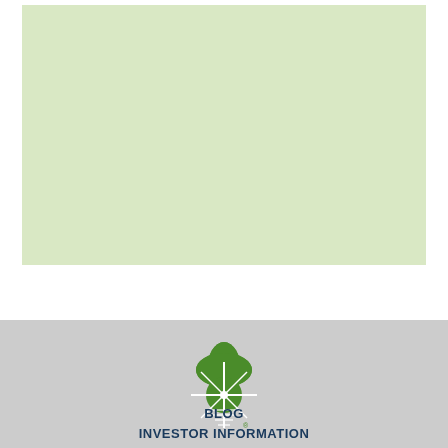[Figure (other): Light green rectangular box occupying the upper portion of the page]
[Figure (logo): Four-leaf clover / compass rose logo in green with white star/lines detail and registered trademark symbol, company logo for a finance/investment company]
BLOG
INVESTOR INFORMATION
CONTACT